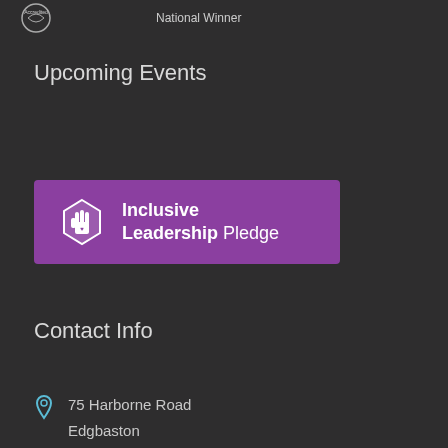[Figure (logo): Accredited badge (circular logo) and National Winner text at top of page]
Upcoming Events
[Figure (logo): Inclusive Leadership Pledge banner — purple background with hand icon and text 'Inclusive Leadership Pledge']
Contact Info
75 Harborne Road
Edgbaston
Birmingham